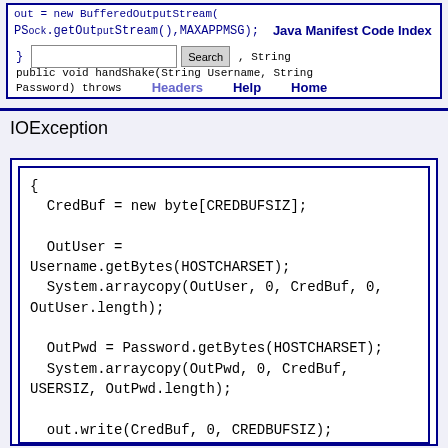Java Manifest Code Index | Search | Headers | Help | Home
IOException
[Figure (screenshot): Code block showing Java method body with CredBuf, OutUser, OutPwd byte array operations and stream write/flush calls]